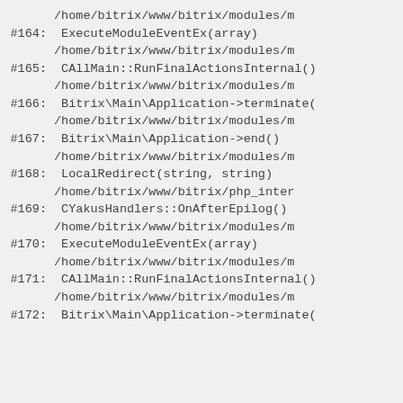/home/bitrix/www/bitrix/modules/m
#164: ExecuteModuleEventEx(array)
/home/bitrix/www/bitrix/modules/m
#165: CAllMain::RunFinalActionsInternal()
/home/bitrix/www/bitrix/modules/m
#166: Bitrix\Main\Application->terminate(
/home/bitrix/www/bitrix/modules/m
#167: Bitrix\Main\Application->end()
/home/bitrix/www/bitrix/modules/m
#168: LocalRedirect(string, string)
/home/bitrix/www/bitrix/php_inter
#169: CYakusHandlers::OnAfterEpilog()
/home/bitrix/www/bitrix/modules/m
#170: ExecuteModuleEventEx(array)
/home/bitrix/www/bitrix/modules/m
#171: CAllMain::RunFinalActionsInternal()
/home/bitrix/www/bitrix/modules/m
#172: Bitrix\Main\Application->terminate(